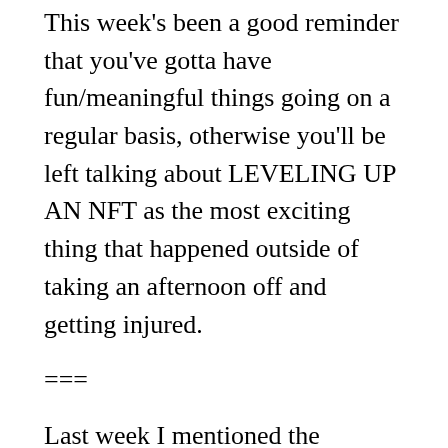This week's been a good reminder that you've gotta have fun/meaningful things going on a regular basis, otherwise you'll be left talking about LEVELING UP AN NFT as the most exciting thing that happened outside of taking an afternoon off and getting injured.
===
Last week I mentioned the MusicHarbour app and started talking to Michael about music recommendation engines. He mentioned Apple Music's “For You” playlists, and I realized I hadn’t used any of them in weeks, maybe months. Today I tried my New Music Mix and